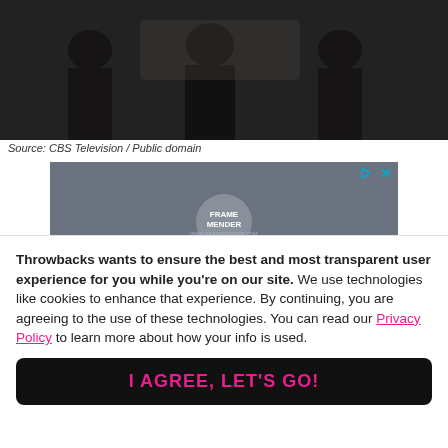[Figure (photo): Black and white photo of people sitting, cropped at top]
Source: CBS Television / Public domain
[Figure (photo): Advertisement photo showing a person in a gray Frame Mender t-shirt working with their hands on something, with Under Armour logo visible]
Throwbacks wants to ensure the best and most transparent user experience for you while you're on our site. We use technologies like cookies to enhance that experience. By continuing, you are agreeing to the use of these technologies. You can read our Privacy Policy to learn more about how your info is used.